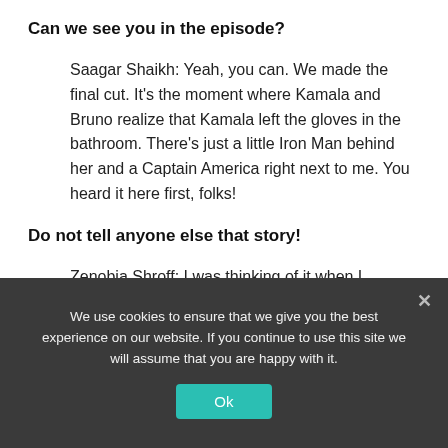Can we see you in the episode?
Saagar Shaikh: Yeah, you can. We made the final cut. It's the moment where Kamala and Bruno realize that Kamala left the gloves in the bathroom. There's just a little Iron Man behind her and a Captain America right next to me. You heard it here first, folks!
Do not tell anyone else that story!
Zenobia Shroff: I was thinking of it when I watched it in the theater. I'm like, "I wonder which
We use cookies to ensure that we give you the best experience on our website. If you continue to use this site we will assume that you are happy with it.